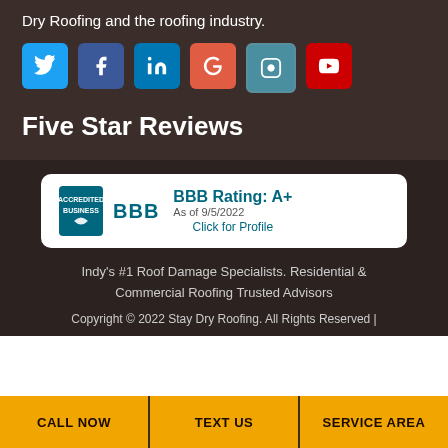Dry Roofing and the roofing industry.
[Figure (other): Social media icon buttons: Twitter, Facebook, LinkedIn, Google, Instagram, YouTube]
Five Star Reviews
[Figure (other): BBB Accredited Business badge showing BBB Rating: A+ As of 9/5/2022. Click for Profile.]
Indy's #1 Roof Damage Specialists. Residential & Commercial Roofing Trusted Advisors
Copyright © 2022 Stay Dry Roofing. All Rights Reserved |
CALL NOW | TEXT US | SERVICE AREA